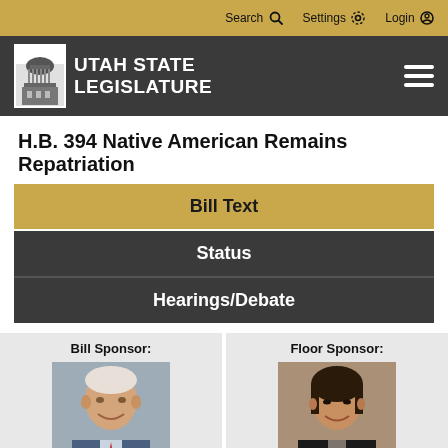Search  Settings  Login
[Figure (logo): Utah State Legislature logo with capitol building icon and white text on dark gray background]
H.B. 394 Native American Remains Repatriation
Bill Text
Status
Hearings/Debate
Bill Sponsor:
[Figure (photo): Official portrait photo of male bill sponsor, elderly man with white hair, smiling, wearing suit]
Floor Sponsor:
[Figure (photo): Official portrait photo of female floor sponsor, Asian woman with dark hair, smiling, wearing dark jacket]